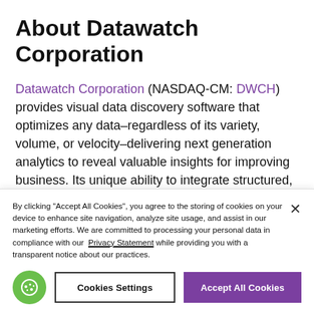About Datawatch Corporation
Datawatch Corporation (NASDAQ-CM: DWCH) provides visual data discovery software that optimizes any data–regardless of its variety, volume, or velocity–delivering next generation analytics to reveal valuable insights for improving business. Its unique ability to integrate structured,
By clicking "Accept All Cookies", you agree to the storing of cookies on your device to enhance site navigation, analyze site usage, and assist in our marketing efforts. We are committed to processing your personal data in compliance with our Privacy Statement while providing you with a transparent notice about our practices.
Cookies Settings | Accept All Cookies